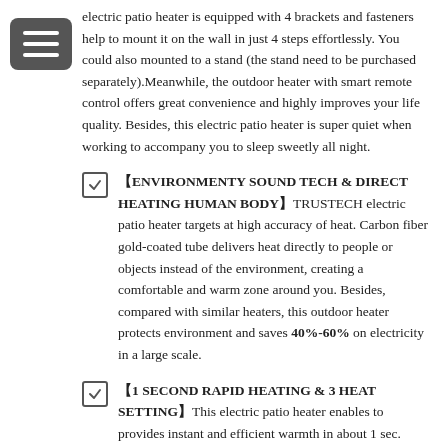electric patio heater is equipped with 4 brackets and fasteners help to mount it on the wall in just 4 steps effortlessly. You could also mounted to a stand (the stand need to be purchased separately).Meanwhile, the outdoor heater with smart remote control offers great convenience and highly improves your life quality. Besides, this electric patio heater is super quiet when working to accompany you to sleep sweetly all night.
【ENVIRONMENTY SOUND TECH & DIRECT HEATING HUMAN BODY】TRUSTECH electric patio heater targets at high accuracy of heat. Carbon fiber gold-coated tube delivers heat directly to people or objects instead of the environment, creating a comfortable and warm zone around you. Besides, compared with similar heaters, this outdoor heater protects environment and saves 40%-60% on electricity in a large scale.
【1 SECOND RAPID HEATING & 3 HEAT SETTING】This electric patio heater enables to provides instant and efficient warmth in about 1 sec. Rapidly heats up in seconds, providing instant, focused heat. The electric patio heaters has 3-level heat setting, 500/1000/1500W mode.